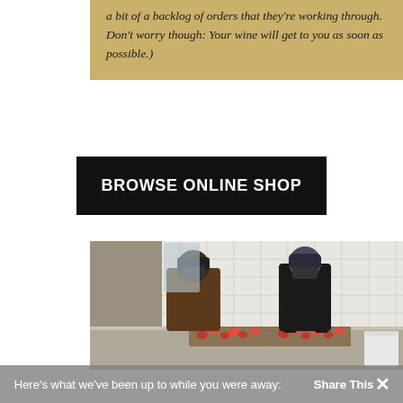a bit of a backlog of orders that they're working through. Don't worry though: Your wine will get to you as soon as possible.)
BROWSE ONLINE SHOP
[Figure (photo): Two workers wearing masks and hats working in a kitchen, sorting red strawberries on baking trays on a counter in front of a white tiled wall.]
Here's what we've been up to while you were away: